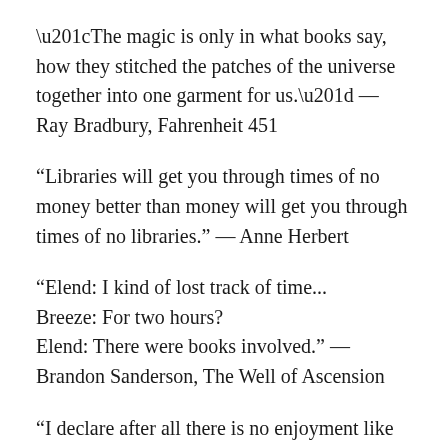“The magic is only in what books say, how they stitched the patches of the universe together into one garment for us.” — Ray Bradbury, Fahrenheit 451
“Libraries will get you through times of no money better than money will get you through times of no libraries.” — Anne Herbert
“Elend: I kind of lost track of time...
Breeze: For two hours?
Elend: There were books involved.” — Brandon Sanderson, The Well of Ascension
“I declare after all there is no enjoyment like reading! How much sooner one tires of any thing than of a book! — When I have a house